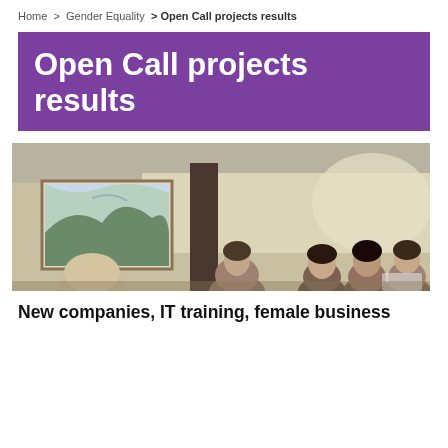Home  >  Gender Equality  > Open Call projects results
Open Call projects results
[Figure (photo): People seated in a room, appearing to be at a workshop or training session. A painting hangs on the wall. Several women are visible seated at tables.]
New companies, IT training, female business